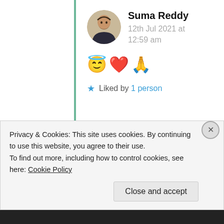Suma Reddy
12th Jul 2021 at 12:59 am
😇❤️🙏
★ Liked by 1 person
Thattamma C.G Menon
Privacy & Cookies: This site uses cookies. By continuing to use this website, you agree to their use.
To find out more, including how to control cookies, see here: Cookie Policy
Close and accept